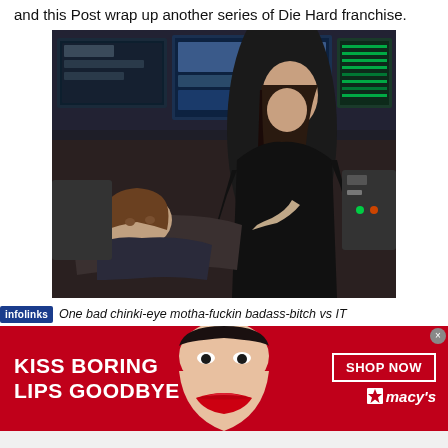and this Post wrap up another series of Die Hard franchise.
[Figure (photo): Movie still showing two actors: a woman in black leather standing over a man who is lying back in a control room with multiple computer monitors and screens in the background.]
One bad chinki-eye motha-fuckin badass-bitch vs IT
[Figure (infographic): Macy's advertisement banner with red background showing 'KISS BORING LIPS GOODBYE' text on the left, a woman's face with red lips in the center, and 'SHOP NOW' button with Macy's star logo on the right.]